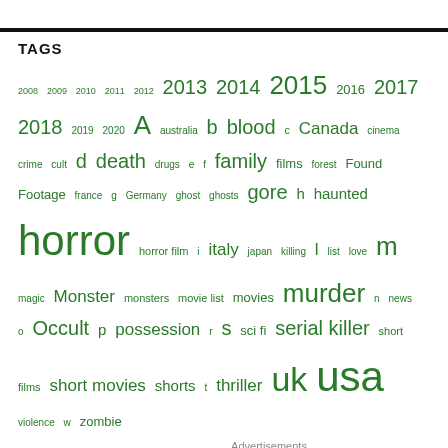TAGS
2008 2009 2010 2011 2012 2013 2014 2015 2016 2017 2018 2019 2020 A australia b blood c Canada cinema crime cult d death drugs e f family films forest Found Footage france g Germany ghost ghosts gore h haunted horror horror film i italy japan killing l list love m magic Monster monsters movie list movies murder n news o Occult p possession r s sci fi serial killer short films short movies shorts t thriller uk usa violence w zombie
Advertisements
Privacy & Cookies: This site uses cookies. By continuing to use this website, you agree to their use.
To find out more, including how to control cookies, see here: Cookie Policy
Close and accept